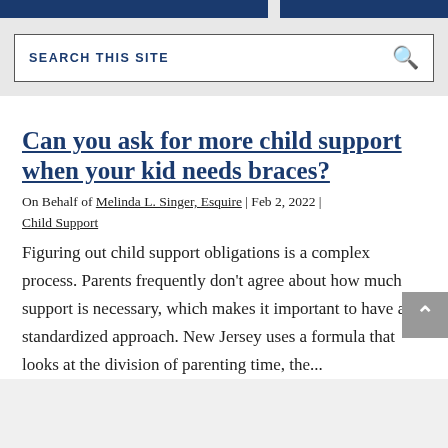SEARCH THIS SITE
Can you ask for more child support when your kid needs braces?
On Behalf of Melinda L. Singer, Esquire | Feb 2, 2022 | Child Support
Figuring out child support obligations is a complex process. Parents frequently don't agree about how much support is necessary, which makes it important to have a standardized approach. New Jersey uses a formula that looks at the division of parenting time, the...